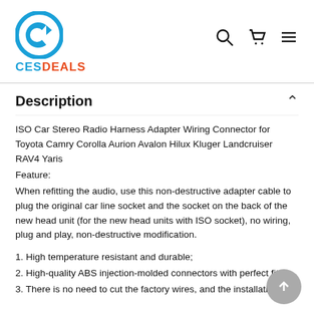[Figure (logo): CESDEALS logo: blue circular icon with a 'C' arrow shape, and text CES in blue and DEALS in orange-red]
[Figure (other): Navigation icons: search (magnifying glass), shopping cart, and hamburger menu]
Description
ISO Car Stereo Radio Harness Adapter Wiring Connector for Toyota Camry Corolla Aurion Avalon Hilux Kluger Landcruiser RAV4 Yaris
Feature:
When refitting the audio, use this non-destructive adapter cable to plug the original car line socket and the socket on the back of the new head unit (for the new head units with ISO socket), no wiring, plug and play, non-destructive modification.
1. High temperature resistant and durable;
2. High-quality ABS injection-molded connectors with perfect fit;
3. There is no need to cut the factory wires, and the installation is